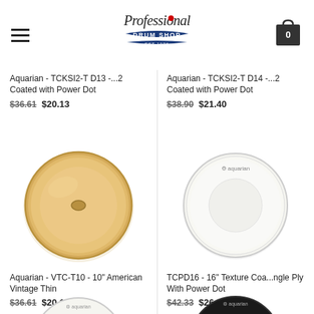Professional Drum Shop
Aquarian - TCKSI2-T D13 -...2 Coated with Power Dot
$36.61  $20.13
Aquarian - TCKSI2-T D14 -...2 Coated with Power Dot
$38.90  $21.40
[Figure (photo): Aquarian VTC-T10 drum head - golden/amber colored circular drum head]
[Figure (photo): Aquarian TCPD16 drum head - white coated circular drum head with center power dot]
Aquarian - VTC-T10 - 10" American Vintage Thin
$36.61  $20.14
TCPD16 - 16" Texture Coa...ngle Ply With Power Dot
$42.33  $26.28
[Figure (photo): Partial view of white drum head - bottom of page]
[Figure (photo): Partial view of black drum head - bottom of page]